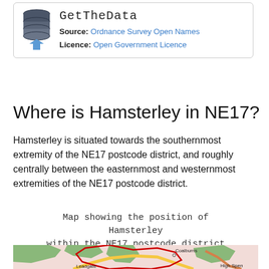[Figure (logo): GetTheData logo with stacked cylinder database icon in dark blue/grey and a blue downward arrow, with branding text 'GetTheData' in monospace font]
Source: Ordnance Survey Open Names
Licence: Open Government Licence
Where is Hamsterley in NE17?
Hamsterley is situated towards the southernmost extremity of the NE17 postcode district, and roughly centrally between the easternmost and westernmost extremities of the NE17 postcode district.
Map showing the position of Hamsterley within the NE17 postcode district
[Figure (map): Map showing the NE17 postcode district area with Hamsterley location marked. Shows areas including Coalburns, Leadgate, and High Spen. Green forested areas visible, red boundary outline of postcode district, roads shown in yellow/orange, pink background for built-up areas.]